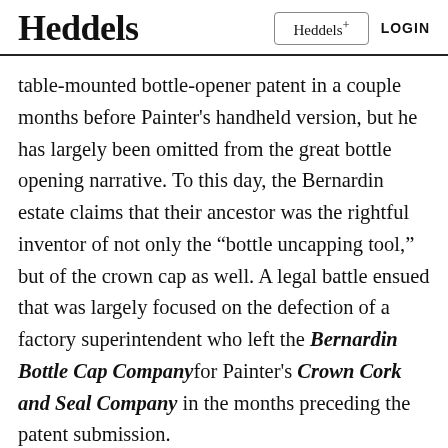Heddels  Heddels+  LOGIN
table-mounted bottle-opener patent in a couple months before Painter's handheld version, but he has largely been omitted from the great bottle opening narrative. To this day, the Bernardin estate claims that their ancestor was the rightful inventor of not only the “bottle uncapping tool,” but of the crown cap as well. A legal battle ensued that was largely focused on the defection of a factory superintendent who left the Bernardin Bottle Cap Company for Painter’s Crown Cork and Seal Company in the months preceding the patent submission.
Despite Painter’s dubious claims to both the cap and